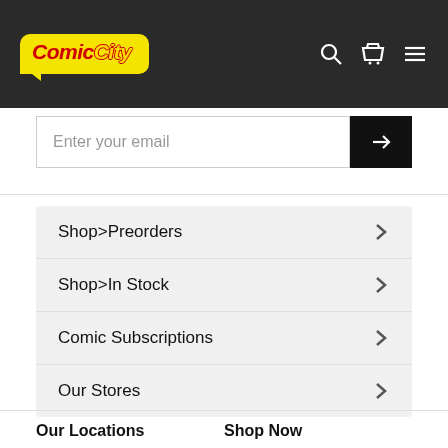Comic City
Enter your email
Shop>Preorders
Shop>In Stock
Comic Subscriptions
Our Stores
Our Locations
Shop Now